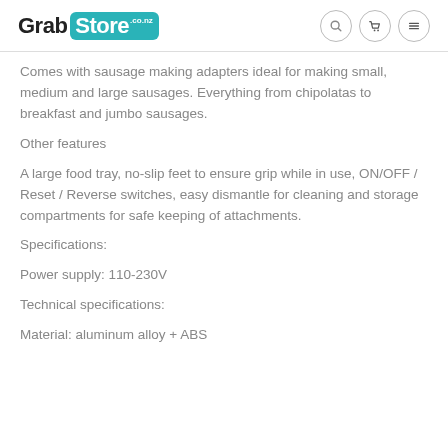Grab Store .co.nz
Comes with sausage making adapters ideal for making small, medium and large sausages. Everything from chipolatas to breakfast and jumbo sausages.
Other features
A large food tray, no-slip feet to ensure grip while in use, ON/OFF / Reset / Reverse switches, easy dismantle for cleaning and storage compartments for safe keeping of attachments.
Specifications:
Power supply: 110-230V
Technical specifications:
Material: aluminum alloy + ABS